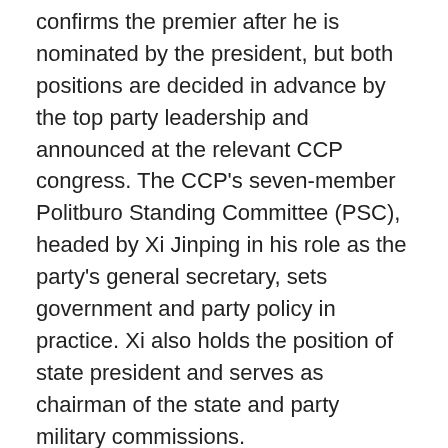confirms the premier after he is nominated by the president, but both positions are decided in advance by the top party leadership and announced at the relevant CCP congress. The CCP's seven-member Politburo Standing Committee (PSC), headed by Xi Jinping in his role as the party's general secretary, sets government and party policy in practice. Xi also holds the position of state president and serves as chairman of the state and party military commissions.
Xi was awarded a second five-year term as general secretary at the 19th Party Congress in October 2017, and at the NPC session in March 2018 he was confirmed for a second five-year term as state president. Also at that session, the NPC approved amendments to China's constitution that abolished the two-term limit for the state presidency and vice presidency. Combined with the